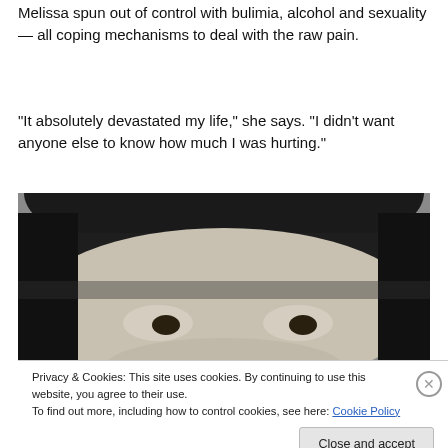Melissa spun out of control with bulimia, alcohol and sexuality — all coping mechanisms to deal with the raw pain.
“It absolutely devastated my life,” she says. “I didn’t want anyone else to know how much I was hurting.”
[Figure (photo): Black and white close-up photograph of a young girl with dark bangs, looking slightly downward, face partially cropped.]
Privacy & Cookies: This site uses cookies. By continuing to use this website, you agree to their use.
To find out more, including how to control cookies, see here: Cookie Policy